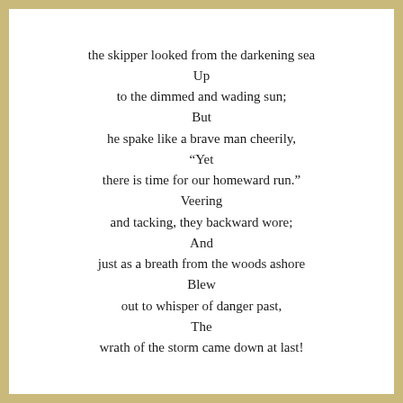the skipper looked from the darkening sea
Up
to the dimmed and wading sun;
But
he spake like a brave man cheerily,
“Yet
there is time for our homeward run.”
Veering
and tacking, they backward wore;
And
just as a breath from the woods ashore
Blew
out to whisper of danger past,
The
wrath of the storm came down at last!